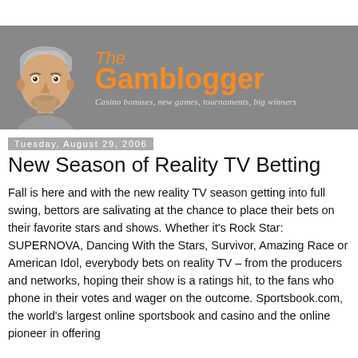[Figure (logo): The Gamblogger website banner with cartoon avatar of a man with grey hair, orange and white branding text reading 'The Gamblogger', and tagline 'Casino bonuses, new games, tournaments, big winners' on a grey background.]
Tuesday, August 29, 2006
New Season of Reality TV Betting
Fall is here and with the new reality TV season getting into full swing, bettors are salivating at the chance to place their bets on their favorite stars and shows. Whether it's Rock Star: SUPERNOVA, Dancing With the Stars, Survivor, Amazing Race or American Idol, everybody bets on reality TV – from the producers and networks, hoping their show is a ratings hit, to the fans who phone in their votes and wager on the outcome. Sportsbook.com, the world's largest online sportsbook and casino and the online pioneer in offering